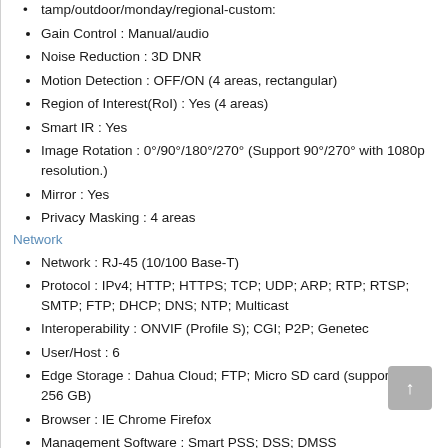tamp/outdoor/monday/regional-custom:
Gain Control : Manual/audio
Noise Reduction : 3D DNR
Motion Detection : OFF/ON (4 areas, rectangular)
Region of Interest(RoI) : Yes (4 areas)
Smart IR : Yes
Image Rotation : 0°/90°/180°/270° (Support 90°/270° with 1080p resolution.)
Mirror : Yes
Privacy Masking : 4 areas
Network
Network : RJ-45 (10/100 Base-T)
Protocol : IPv4; HTTP; HTTPS; TCP; UDP; ARP; RTP; RTSP; SMTP; FTP; DHCP; DNS; NTP; Multicast
Interoperability : ONVIF (Profile S); CGI; P2P; Genetec
User/Host : 6
Edge Storage : Dahua Cloud; FTP; Micro SD card (support max. 256 GB)
Browser : IE Chrome Firefox
Management Software : Smart PSS; DSS; DMSS
Mobile Phone : IOS; Android
Certifications